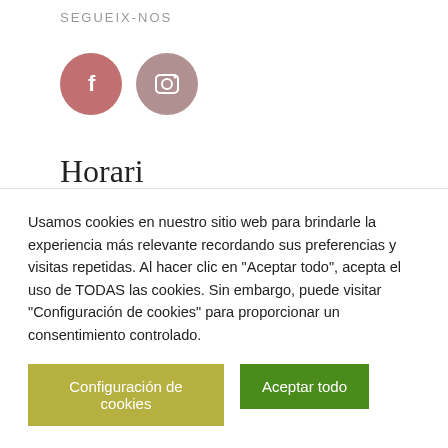SEGUEIX-NOS
[Figure (illustration): Two circular social media icons: Facebook (salmon/pink color with 'f' letter) and Instagram (mauve/gray color with camera icon)]
Horari
Dilluns – Divendres:
00:00 – 21:00
Usamos cookies en nuestro sitio web para brindarle la experiencia más relevante recordando sus preferencias y visitas repetidas. Al hacer clic en "Aceptar todo", acepta el uso de TODAS las cookies. Sin embargo, puede visitar "Configuración de cookies" para proporcionar un consentimiento controlado.
Configuración de cookies | Aceptar todo